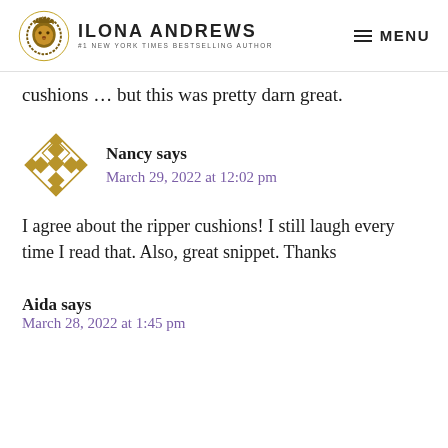Ilona Andrews — #1 New York Times Bestselling Author | MENU
cushions … but this was pretty darn great.
Nancy says
March 29, 2022 at 12:02 pm
I agree about the ripper cushions! I still laugh every time I read that. Also, great snippet. Thanks
Aida says
March 28, 2022 at 1:45 pm